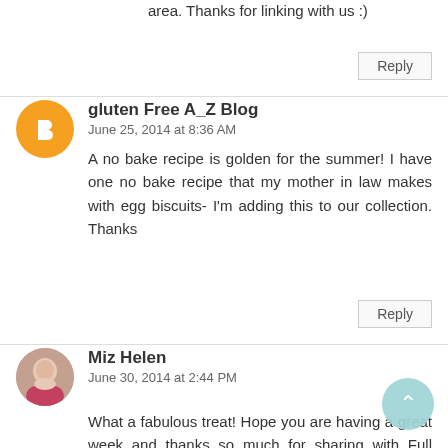area. Thanks for linking with us :)
Reply
gluten Free A_Z Blog
June 25, 2014 at 8:36 AM
A no bake recipe is golden for the summer! I have one no bake recipe that my mother in law makes with egg biscuits- I'm adding this to our collection. Thanks
Reply
Miz Helen
June 30, 2014 at 2:44 PM
What a fabulous treat! Hope you are having a great week and thanks so much for sharing with Full Plate Thursday.
Come Back Soon!
Miz Helen